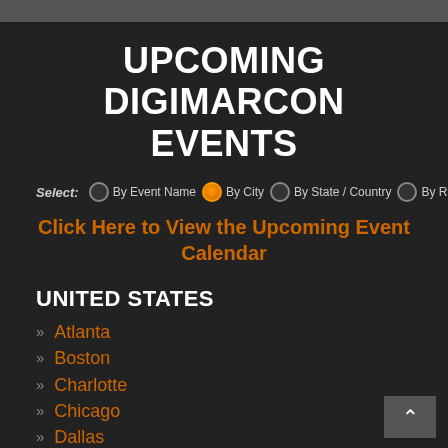UPCOMING DIGIMARCON EVENTS
Select: By Event Name  By City  By State / Country  By Region
Click Here to View the Upcoming Event Calendar
UNITED STATES
Atlanta
Boston
Charlotte
Chicago
Dallas
Denver
Detroit
Honolulu